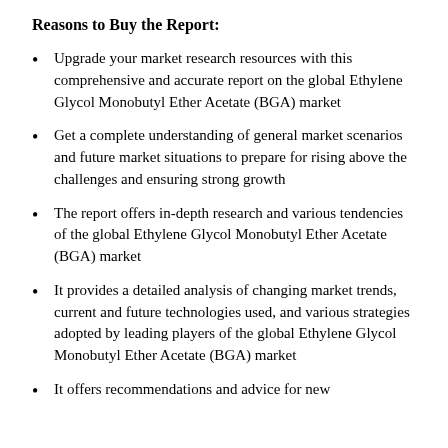Reasons to Buy the Report:
Upgrade your market research resources with this comprehensive and accurate report on the global Ethylene Glycol Monobutyl Ether Acetate (BGA) market
Get a complete understanding of general market scenarios and future market situations to prepare for rising above the challenges and ensuring strong growth
The report offers in-depth research and various tendencies of the global Ethylene Glycol Monobutyl Ether Acetate (BGA) market
It provides a detailed analysis of changing market trends, current and future technologies used, and various strategies adopted by leading players of the global Ethylene Glycol Monobutyl Ether Acetate (BGA) market
It offers recommendations and advice for new entrants to the global Ethylene Glycol Monobutyl Ether Acetate...